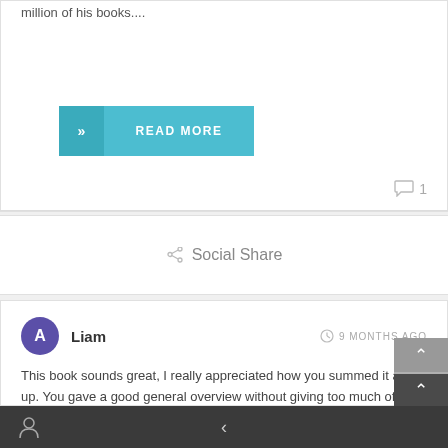million of his books....
READ MORE
1
Social Share
Liam
9 MONTHS AGO
This book sounds great, I really appreciated how you summed it all up. You gave a good general overview without giving too much of the book away. I think its an interesting idea that time is never satisfactory.